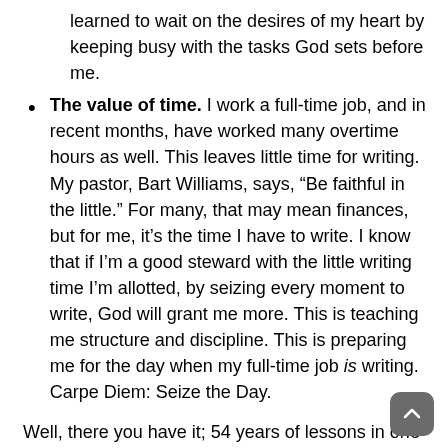learned to wait on the desires of my heart by keeping busy with the tasks God sets before me.
The value of time. I work a full-time job, and in recent months, have worked many overtime hours as well. This leaves little time for writing. My pastor, Bart Williams, says, “Be faithful in the little.” For many, that may mean finances, but for me, it’s the time I have to write. I know that if I’m a good steward with the little writing time I’m allotted, by seizing every moment to write, God will grant me more. This is teaching me structure and discipline. This is preparing me for the day when my full-time job is writing. Carpe Diem: Seize the Day.
Well, there you have it; 54 years of lessons in one tough, yet awe inspiring year. I’m humbled and grateful for these lessons. I have faith that they’re purpose has been to prepare me for where He’s